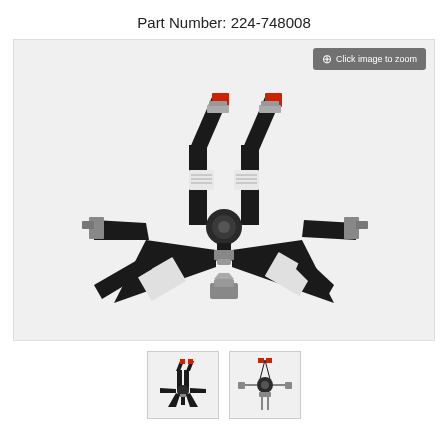Part Number: 224-748008
[Figure (photo): Racing harness / 5-point seatbelt set in black with red pull tabs, metal cam-lock center buckle, multiple straps fanning out, labels visible on webbing, laid flat on white background]
[Figure (photo): Thumbnail 1: same black racing harness, overhead view]
[Figure (photo): Thumbnail 2: black racing harness showing center buckle close-up]